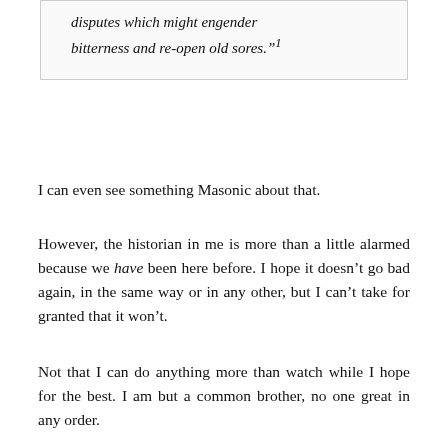disputes which might engender bitterness and re-open old sores.”¹
I can even see something Masonic about that.
However, the historian in me is more than a little alarmed because we have been here before. I hope it doesn’t go bad again, in the same way or in any other, but I can’t take for granted that it won’t.
Not that I can do anything more than watch while I hope for the best. I am but a common brother, no one great in any order.